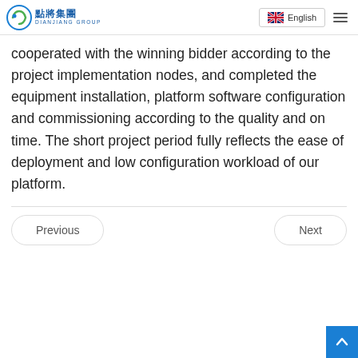DIANJIANG GROUP | English
cooperated with the winning bidder according to the project implementation nodes, and completed the equipment installation, platform software configuration and commissioning according to the quality and on time. The short project period fully reflects the ease of deployment and low configuration workload of our platform.
Previous | Next